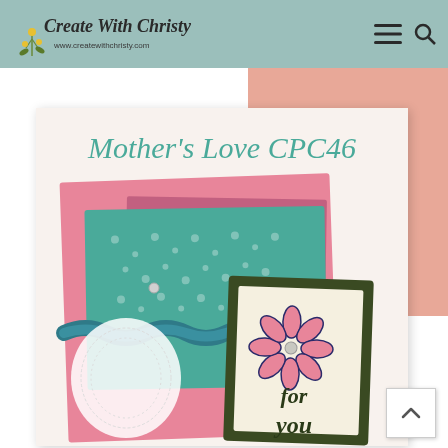Create With Christy — www.createwithchristy.com
[Figure (photo): Handmade greeting card craft project titled 'Mother's Love CPC46'. The card features pink embossed cardstock, teal patterned paper, teal ruffled ribbon, a white doily, and a stamped floral card with 'for you' text. The card is displayed against a white background with a peach accent area.]